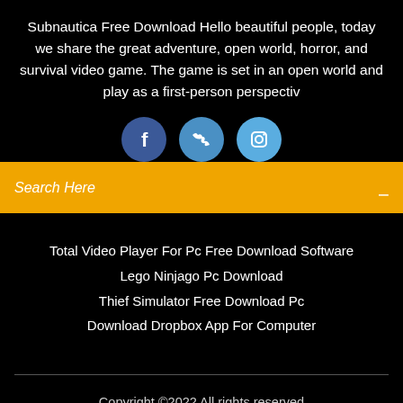Subnautica Free Download Hello beautiful people, today we share the great adventure, open world, horror, and survival video game. The game is set in an open world and play as a first-person perspectiv
[Figure (other): Three social media icon circles: Facebook (f), Twitter (bird), Instagram (camera)]
Search Here
Total Video Player For Pc Free Download Software
Lego Ninjago Pc Download
Thief Simulator Free Download Pc
Download Dropbox App For Computer
Copyright ©2022 All rights reserved